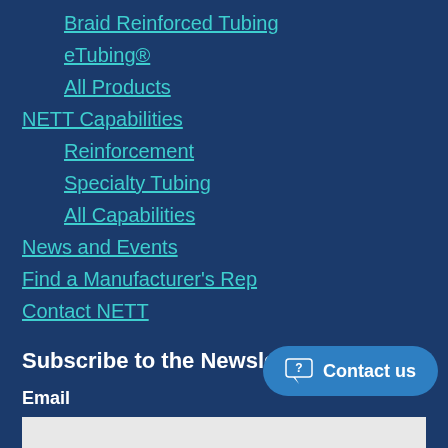Braid Reinforced Tubing
eTubing®
All Products
NETT Capabilities
Reinforcement
Specialty Tubing
All Capabilities
News and Events
Find a Manufacturer's Rep
Contact NETT
Subscribe to the Newsletter
Email
CAPTCHA